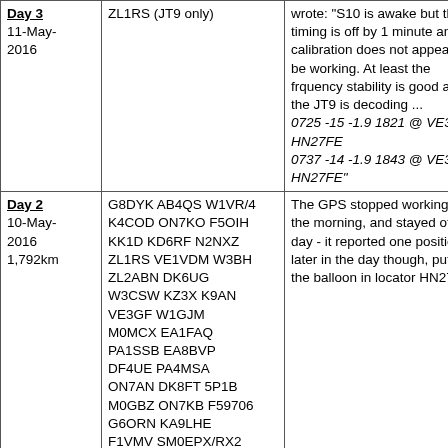| Day | Stations | Notes |
| --- | --- | --- |
| Day 3
11-May-2016 | ZL1RS (JT9 only) | wrote: "S10 is awake but the timing is off by 1 minute and calibration does not appear to be working. At least the frquency stability is good and the JT9 is decoding ...
0725 -15 -1.9 1821 @ VE3KCL HN27FE
0737 -14 -1.9 1843 @ VE3KCL HN27FE" |
| Day 2
10-May-2016
1,792km | G8DYK AB4QS W1VR/4 K4COD ON7KO F5OIH KK1D KD6RF N2NXZ ZL1RS VE1VDM W3BH ZL2ABN DK6UG W3CSW KZ3X K9AN VE3GF W1GJM M0MCX EA1FAQ PA1SSB EA8BVP DF4UE PA4MSA ON7AN DK8FT 5P1B M0GBZ ON7KB F59706 G6ORN KA9LHE F1VMV SM0EPX/RX2 G0FCH DJ6OL G4USP | The GPS stopped working in the morning, and stayed off all day - it reported one position later in the day though, putting the balloon in locator HN27FE |